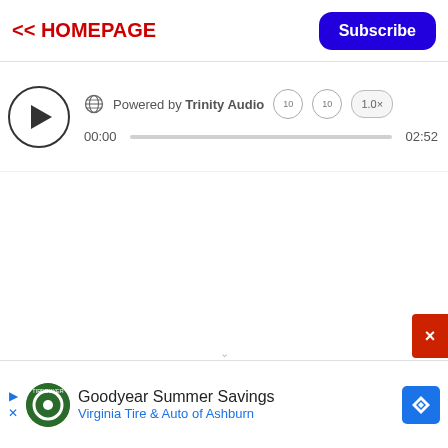<< HOMEPAGE
[Figure (screenshot): Subscribe button — blue rounded rectangle with white 'Subscribe' text]
[Figure (screenshot): Audio player widget: play button circle, globe icon, 'Powered by Trinity Audio', rewind/forward 10s buttons, 1.0x speed, progress bar from 00:00 to 02:52]
[Figure (screenshot): Red X close button in bottom-right corner]
[Figure (screenshot): Ad banner: Goodyear Summer Savings — Virginia Tire & Auto of Ashburn, with logo and blue diamond icon]